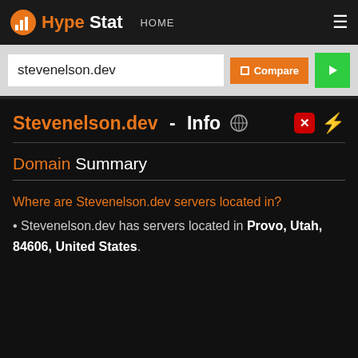HypeStat HOME ☰
stevenelson.dev
Stevenelson.dev - Info 🌐
Domain Summary
Where are Stevenelson.dev servers located in?
Stevenelson.dev has servers located in Provo, Utah, 84606, United States.